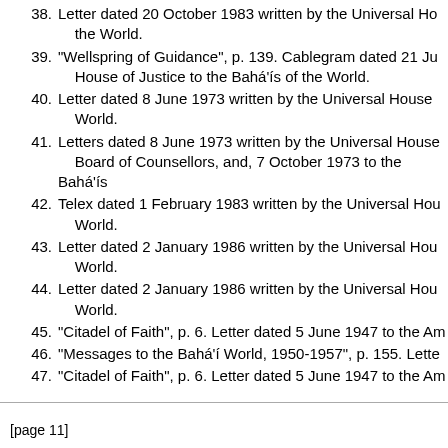38. Letter dated 20 October 1983 written by the Universal Ho... the World.
39. "Wellspring of Guidance", p. 139. Cablegram dated 21 Ju... House of Justice to the Bahá'ís of the World.
40. Letter dated 8 June 1973 written by the Universal House ... World.
41. Letters dated 8 June 1973 written by the Universal House... Board of Counsellors, and, 7 October 1973 to the Bahá'ís...
42. Telex dated 1 February 1983 written by the Universal Hou... World.
43. Letter dated 2 January 1986 written by the Universal Hou... World.
44. Letter dated 2 January 1986 written by the Universal Hou... World.
45. "Citadel of Faith", p. 6. Letter dated 5 June 1947 to the Am...
46. "Messages to the Bahá'í World, 1950-1957", p. 155. Lette...
47. "Citadel of Faith", p. 6. Letter dated 5 June 1947 to the Am...
[page 11]